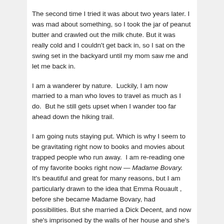The second time I tried it was about two years later. I was mad about something, so I took the jar of peanut butter and crawled out the milk chute. But it was really cold and I couldn't get back in, so I sat on the swing set in the backyard until my mom saw me and let me back in.
I am a wanderer by nature.  Luckily, I am now married to a man who loves to travel as much as I do.  But he still gets upset when I wander too far ahead down the hiking trail.
I am going nuts staying put. Which is why I seem to be gravitating right now to books and movies about trapped people who run away.  I am re-reading one of my favorite books right now — Madame Bovary. It's beautiful and great for many reasons, but I am particularly drawn to the idea that Emma Rouault , before she became Madame Bovary, had possibilities. But she married a Dick Decent, and now she's imprisoned by the walls of her house and she's bored stiff. Her only outlets are shopping and affairs. She tries to run away. Things don't end well.